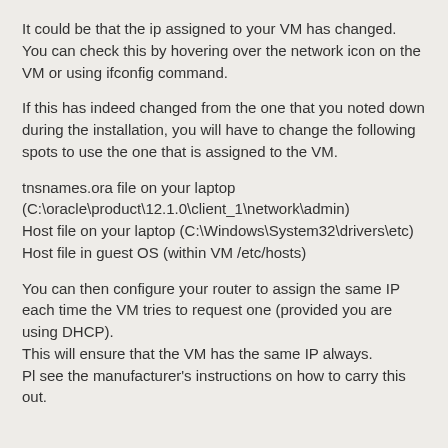It could be that the ip assigned to your VM has changed.
You can check this by hovering over the network icon on the VM or using ifconfig command.
If this has indeed changed from the one that you noted down during the installation, you will have to change the following spots to use the one that is assigned to the VM.
tnsnames.ora file on your laptop (C:\oracle\product\12.1.0\client_1\network\admin)
Host file on your laptop (C:\Windows\System32\drivers\etc)
Host file in guest OS (within VM /etc/hosts)
You can then configure your router to assign the same IP each time the VM tries to request one (provided you are using DHCP).
This will ensure that the VM has the same IP always.
Pl see the manufacturer's instructions on how to carry this out.